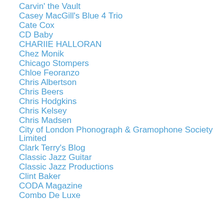Carvin' the Vault
Casey MacGill's Blue 4 Trio
Cate Cox
CD Baby
CHARIIE HALLORAN
Chez Monik
Chicago Stompers
Chloe Feoranzo
Chris Albertson
Chris Beers
Chris Hodgkins
Chris Kelsey
Chris Madsen
City of London Phonograph & Gramophone Society Limited
Clark Terry's Blog
Classic Jazz Guitar
Classic Jazz Productions
Clint Baker
CODA Magazine
Combo De Luxe